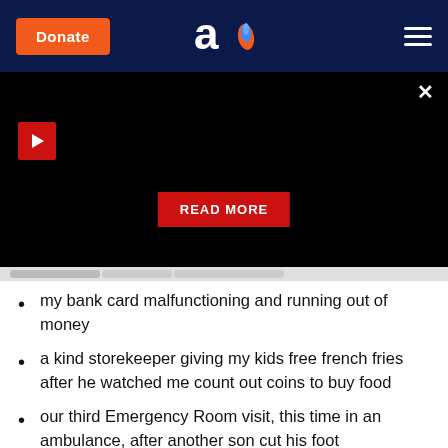[Figure (screenshot): Website header with dark navy background, orange Donate button on left, 'ao' logo in center, hamburger menu icon on right]
[Figure (screenshot): Black video player area with close X button top right, red play button top left, red READ MORE button centered near bottom, and a progress strip below]
my bank card malfunctioning and running out of money
a kind storekeeper giving my kids free french fries after he watched me count out coins to buy food
our third Emergency Room visit, this time in an ambulance, after another son cut his foot
missing my husband terribly after he returned home to go back to work